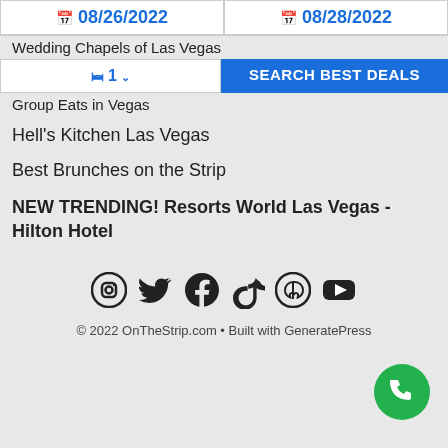08/26/2022
08/28/2022
Wedding Chapels of Las Vegas
1
SEARCH BEST DEALS
Group Eats in Vegas
Hell's Kitchen Las Vegas
Best Brunches on the Strip
NEW TRENDING! Resorts World Las Vegas - Hilton Hotel
[Figure (other): Social media icons: Instagram, Twitter, Facebook, TikTok, Pinterest, YouTube]
© 2022 OnTheStrip.com • Built with GeneratePress